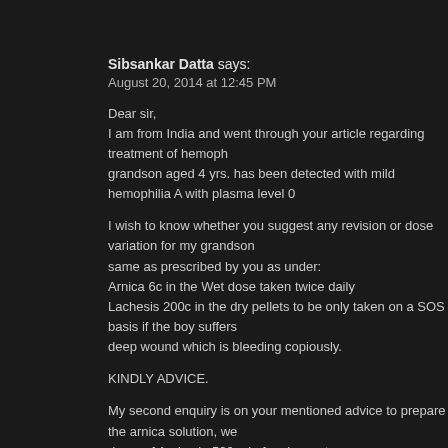Sibsankar Datta says:
August 20, 2014 at 12:45 PM
Dear sir,
I am from India and went through your article regarding treatment of hemoph... grandson aged 4 yrs. has been detected with mild hemophilia A with plasma level 0...
I wish to know whether you suggest any revision or dose variation for my grandson... same as prescribed by you as under:
Arnica 6c in the Wet dose taken twice daily
Lachesis 200c in the dry pellets to be only taken on a SOS basis if the boy suffers... deep wound which is bleeding copiously.
KINDLY ADVICE.
My second enquiry is on your mentioned advice to prepare the arnica solution, we... drops of Arnica in 500 ml of spring water.
Let me know whether we are to use the spring water in specific or purified wat... water purifier will suffice.
Again once the solution is prepared, shaken and i spoon taken, whether the residu... thrown away or can we use the residual solution till it exhausts. I need to know... inevitable.
Solicit your kind response with enormous regards for your dedication to serve pe... distress.
Best Regards,